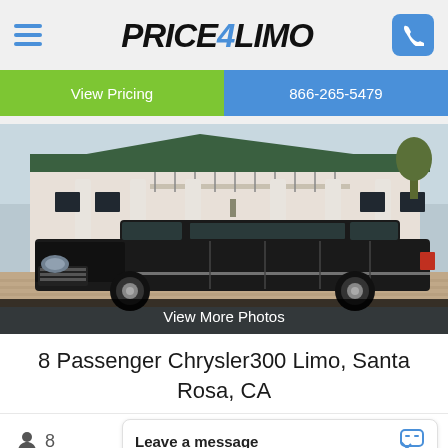Price4Limo
View Pricing
866-265-5479
[Figure (photo): Black stretch limousine (Chrysler 300) parked in front of a large white colonial mansion with columns, manicured bushes and greenery. Text overlay at bottom reads 'View More Photos'.]
8 Passenger Chrysler300 Limo, Santa Rosa, CA
8
Leave a message